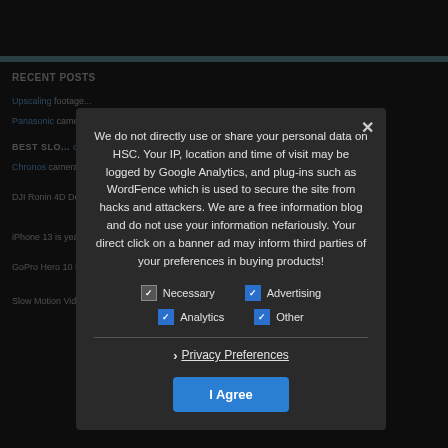RECENT POSTS
Upscaling...
Panasonic...
BEST SLO...
Chronos...
DJI Ronin 4D Delivers Cinematic Stabilized Slow Motion
iPhone 13 is years behind... 1000fps
GoPro Hero 10 Leaks with 240fps in 2.7K
Slow Motion Videos: You...
We do not directly use or share your personal data on HSC. Your IP, location and time of visit may be logged by Google Analytics, and plug-ins such as WordFence which is used to secure the site from hacks and attackers. We are a free information blog and do not use your information nefariously. Your direct click on a banner ad may inform third parties of your preferences in buying products!
Necessary | Advertising | Analytics | Other
› Privacy Preferences
I Agree